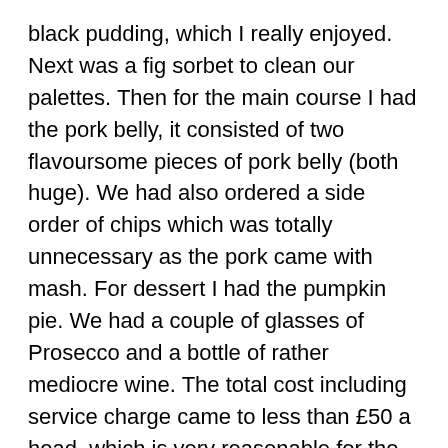black pudding, which I really enjoyed.  Next was a fig sorbet to clean our palettes.  Then for the main course I had the pork belly, it consisted of two flavoursome pieces of pork belly (both huge). We had also ordered a side order of chips which was totally unnecessary as the pork came with mash. For dessert I had the pumpkin pie.  We had a couple of  glasses of Prosecco and a bottle of rather mediocre wine. The total cost  including service charge came to less than £50 a head, which is very reasonable for the area and for the quality/amount of food.
I also could not resist taking a picture of the very generous cheese course left on the next table, it looked great when it arrived and you can see from